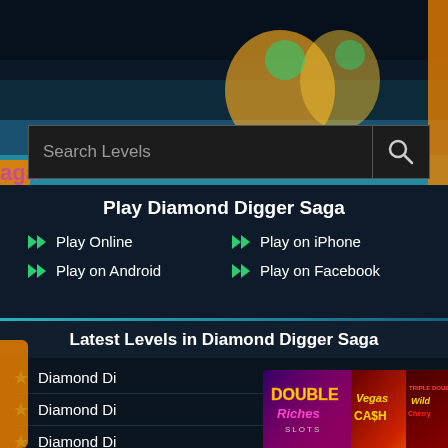[Figure (screenshot): Hero banner with game characters from Diamond Digger Saga on a teal/dark blue background]
[Figure (screenshot): Search bar with placeholder text 'Search Levels' and a search icon on the right]
Play Diamond Digger Saga
Play Online
Play on iPhone
Play on Android
Play on Facebook
Latest Levels in Diamond Digger Saga
Diamond Di...
Diamond Di...
Diamond Di...
[Figure (screenshot): Advertisement overlay showing Double Riches Slots, Vegas Cash, and Triple Double Wild Cherry slot machine games]